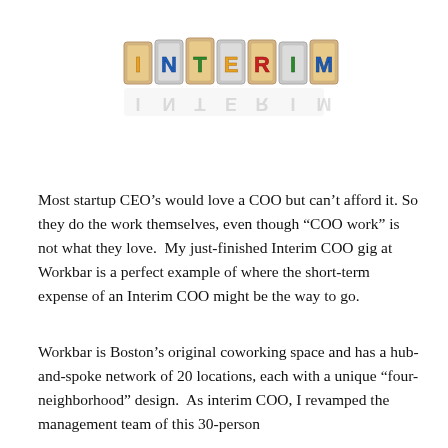[Figure (photo): Wooden alphabet letter blocks spelling out INTERIM with colorful letters (yellow, green, blue, orange) on a white background, with a mirror reflection below.]
Most startup CEO’s would love a COO but can’t afford it.  So they do the work themselves, even though “COO work” is not what they love.  My just-finished Interim COO gig at Workbar is a perfect example of where the short-term expense of an Interim COO might be the way to go.
Workbar is Boston’s original coworking space and has a hub-and-spoke network of 20 locations, each with a unique “four-neighborhood” design.  As interim COO, I revamped the management team of this 30-person…